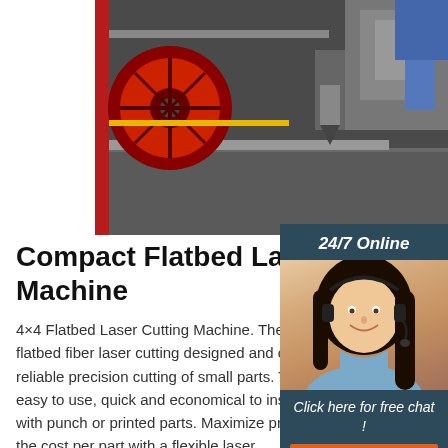[Figure (photo): Industrial flatbed laser cutting machine in a factory setting, showing a large red spool/reel on the left, metal frame and rails, and cutting apparatus in background.]
[Figure (photo): Sidebar widget showing '24/7 Online', a female customer service agent wearing a headset and smiling, with 'Click here for free chat!' text and an orange 'QUOTATION' button.]
Compact Flatbed Laser Cu... Machine
4×4 Flatbed Laser Cutting Machine. The LaserCube is a flatbed fiber laser cutting designed and optimized for fast and reliable precision cutting of small parts. The LaserCube is easy to use, quick and economical to install and can align with punch or printed parts. Maximize productivity and lower the cost per part with a flexible laser ...